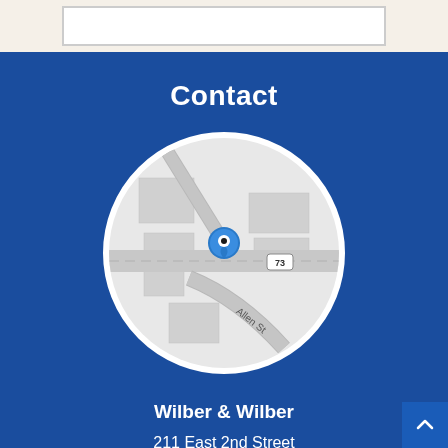[Figure (map): Circular map showing location near Allen St and Route 73 in Port Clinton, OH with a blue location pin marker]
Contact
Wilber & Wilber
211 East 2nd Street
Port Clinton, OH 43452